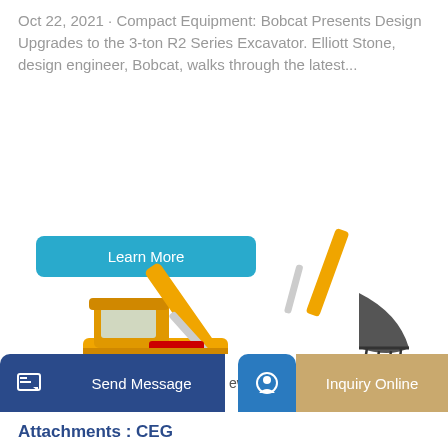Oct 22, 2021 · Compact Equipment: Bobcat Presents Design Upgrades to the 3-ton R2 Series Excavator. Elliott Stone, design engineer, Bobcat, walks through the latest...
Learn More
[Figure (photo): Yellow XCMG crawler excavator shown in profile view with boom arm extended upward and bucket lowered, on white background]
Send Message
ew L
Inquiry Online
Attachments : CEG